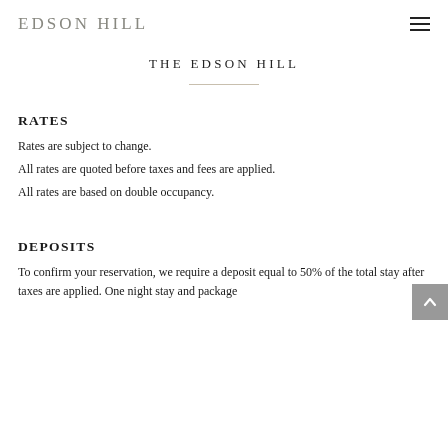EDSON HILL
THE EDSON HILL
RATES
Rates are subject to change.
All rates are quoted before taxes and fees are applied.
All rates are based on double occupancy.
DEPOSITS
To confirm your reservation, we require a deposit equal to 50% of the total stay after taxes are applied. One night stay and package